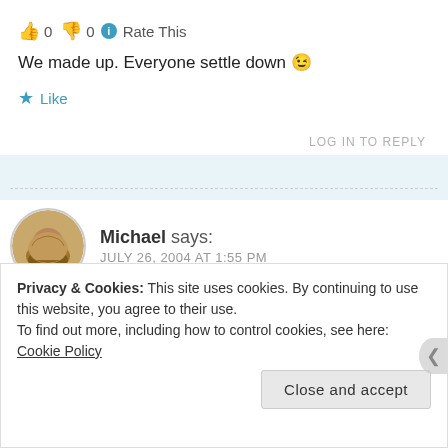👍 0 👎 0 ℹ Rate This
We made up. Everyone settle down 😉
★ Like
LOG IN TO REPLY
Michael says: JULY 26, 2004 AT 1:55 PM
👍 0 👎 0 ℹ Rate This
Privacy & Cookies: This site uses cookies. By continuing to use this website, you agree to their use.
To find out more, including how to control cookies, see here: Cookie Policy
Close and accept